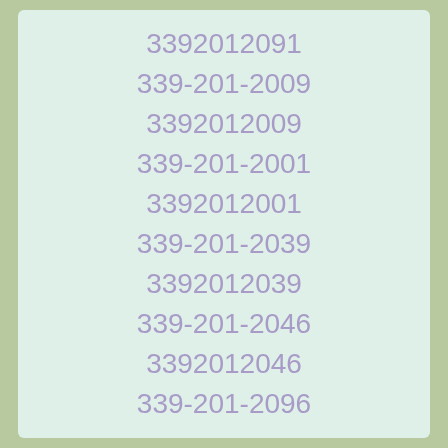3392012091
339-201-2009
3392012009
339-201-2001
3392012001
339-201-2039
3392012039
339-201-2046
3392012046
339-201-2096